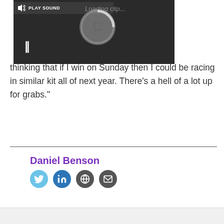[Figure (screenshot): Video/audio player overlay with dark background, loading spinner, pause button, PLAY SOUND label, close (X) button, and expand button]
thinking that if I win on Sunday then I could be racing in similar kit all of next year. There’s a hell of a lot up for grabs.”
Daniel Benson
[Figure (infographic): Social media icons: Twitter (blue bird), LinkedIn (blue in), Globe (dark grey), Mail (dark grey envelope)]